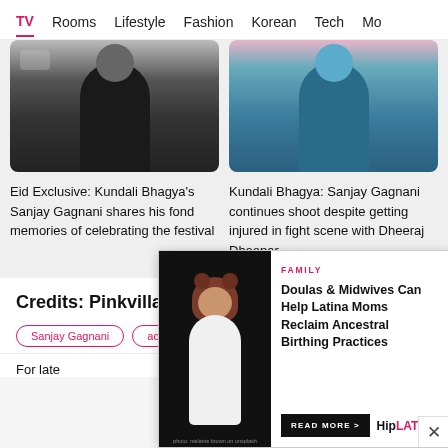TV  Rooms  Lifestyle  Fashion  Korean  Tech  Mo
[Figure (photo): Two article card photos: left shows a person in black outfit, right shows a person in teal/blue outfit]
Eid Exclusive: Kundali Bhagya's Sanjay Gagnani shares his fond memories of celebrating the festival
Kundali Bhagya: Sanjay Gagnani continues shoot despite getting injured in fight scene with Dheeraj Dhoopar
Credits: Pinkvilla
Sanjay Gagnani
actor
Kundali Bh...
For late
[Figure (screenshot): Advertisement overlay from HipLATINA: FAMILY - Doulas & Midwives Can Help Latina Moms Reclaim Ancestral Birthing Practices, READ MORE button, photo of person with curly hair in white outfit]